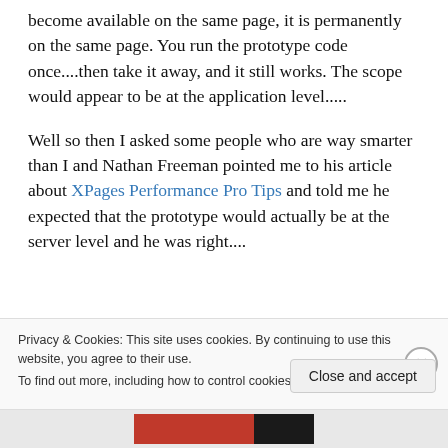become available on the same page, it is permanently on the same page. You run the prototype code once....then take it away, and it still works. The scope would appear to be at the application level.....
Well so then I asked some people who are way smarter than I and Nathan Freeman pointed me to his article about XPages Performance Pro Tips and told me he expected that the prototype would actually be at the server level and he was right....
Privacy & Cookies: This site uses cookies. By continuing to use this website, you agree to their use.
To find out more, including how to control cookies, see here: Cookie Policy
Close and accept